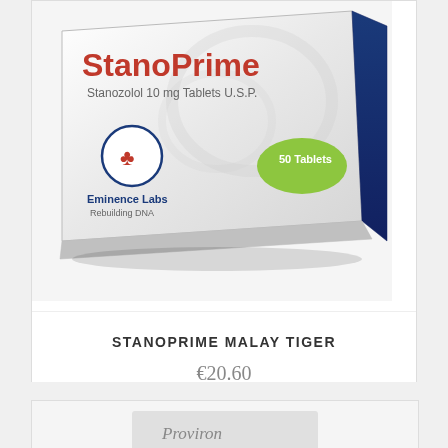[Figure (photo): Product packaging for StanoPrime by Eminence Labs - Stanozolol 10mg Tablets U.S.P., showing a white and blue box with red branding, circular logo, and green '50 Tablets' badge.]
STANOPRIME MALAY TIGER
€20.60
READ MORE
[Figure (photo): Partial view of a second product card showing what appears to be a Proviron product package.]